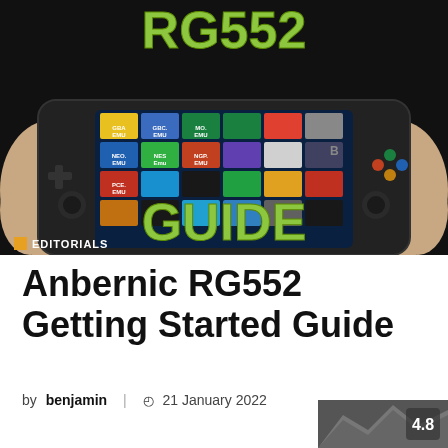[Figure (photo): Hero image of Anbernic RG552 handheld gaming device being held by two hands, showing a colorful game launcher screen with various emulator icons (GBA EMU, GBC EMU, MO EMU, NEO EMU, NES Emu, NGP EMU, PCE EMU, etc.). Large green text 'RG552' at the top and 'GUIDE' overlaid on the image. Orange 'EDITORIALS' badge with square icon in bottom-left corner.]
Anbernic RG552 Getting Started Guide
by benjamin | 21 January 2022